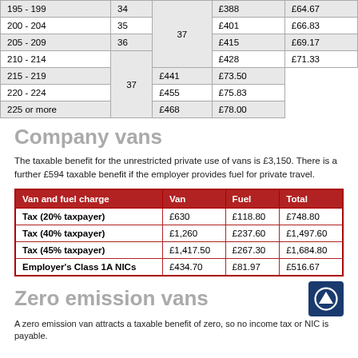|  |  |  |  |  |
| --- | --- | --- | --- | --- |
| 195 - 199 | 34 |  | £388 | £64.67 |
| 200 - 204 | 35 |  | £401 | £66.83 |
| 205 - 209 | 36 |  | £415 | £69.17 |
| 210 - 214 |  | 37 | £428 | £71.33 |
| 215 - 219 | 37 |  | £441 | £73.50 |
| 220 - 224 |  |  | £455 | £75.83 |
| 225 or more |  |  | £468 | £78.00 |
Company vans
The taxable benefit for the unrestricted private use of vans is £3,150. There is a further £594 taxable benefit if the employer provides fuel for private travel.
| Van and fuel charge | Van | Fuel | Total |
| --- | --- | --- | --- |
| Tax (20% taxpayer) | £630 | £118.80 | £748.80 |
| Tax (40% taxpayer) | £1,260 | £237.60 | £1,497.60 |
| Tax (45% taxpayer) | £1,417.50 | £267.30 | £1,684.80 |
| Employer's Class 1A NICs | £434.70 | £81.97 | £516.67 |
Zero emission vans
A zero emission van attracts a taxable benefit of zero, so no income tax or NIC is payable.